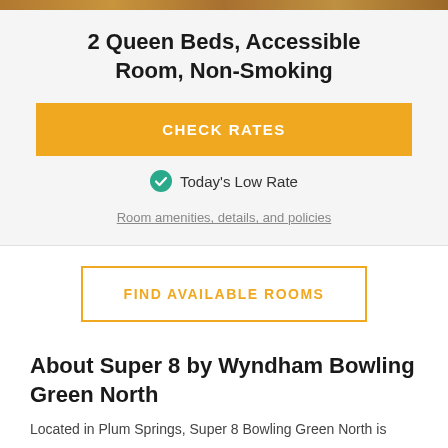[Figure (photo): Partial top edge of a hotel room photo showing warm-toned bedding]
2 Queen Beds, Accessible Room, Non-Smoking
CHECK RATES
Today's Low Rate
Room amenities, details, and policies
FIND AVAILABLE ROOMS
About Super 8 by Wyndham Bowling Green North
Located in Plum Springs, Super 8 Bowling Green North is